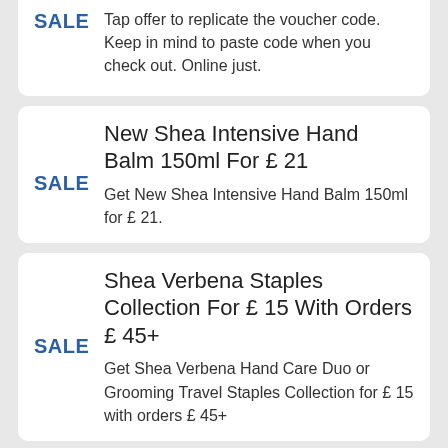SALE Tap offer to replicate the voucher code. Keep in mind to paste code when you check out. Online just.
New Shea Intensive Hand Balm 150ml For £ 21
Get New Shea Intensive Hand Balm 150ml for £ 21.
Shea Verbena Staples Collection For £ 15 With Orders £ 45+
Get Shea Verbena Hand Care Duo or Grooming Travel Staples Collection for £ 15 with orders £ 45+